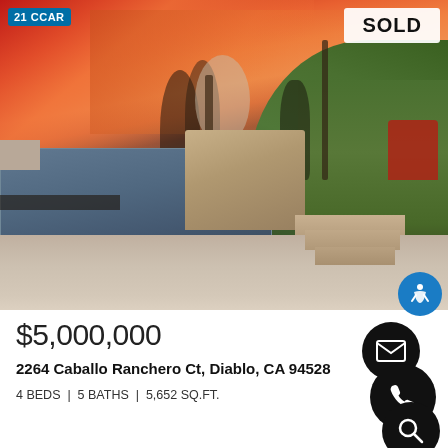[Figure (photo): Luxury home with pool and spa featuring a dramatic pink and orange sunset sky. Stone fire pit structure in center, steps to patio area, green hillside on right with hedges. Red patio furniture visible. Pool reflects the colorful sky.]
$5,000,000
2264 Caballo Ranchero Ct, Diablo, CA 94528
4 BEDS | 5 BATHS | 5,652 SQ.FT.